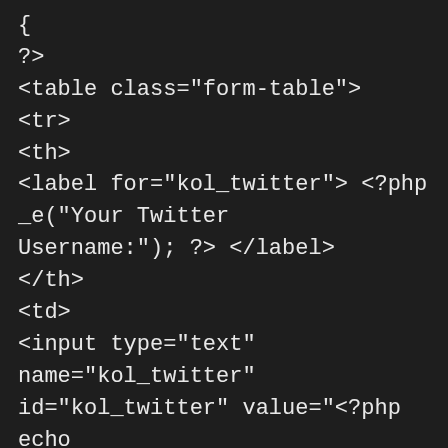{
?>
<table class="form-table">
<tr>
<th>
<label for="kol_twitter"><?php _e("Your Twitter Username:"); ?></label>
</th>
<td>
<input type="text" name="kol_twitter" id="kol_twitter" value="<?php echo esc_attr(get_the_author_meta('kol_twitter', $user->ID)); ?>" class="regular-text" /><br />
<?php _e("Exclude @ symbol. Example: <a href=\"http://twitter.com/afrais/\"